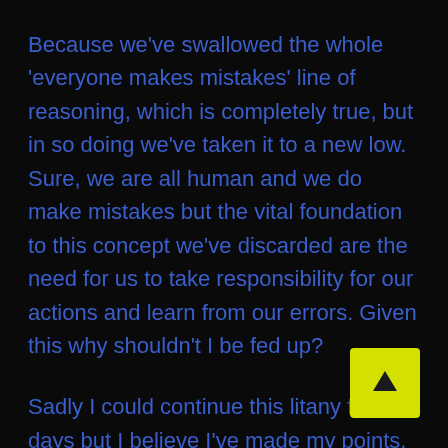Because we've swallowed the whole 'everyone makes mistakes' line of reasoning, which is completely true, but in so doing we've taken it to a new low. Sure, we are all human and we do make mistakes but the vital foundation to this concept we've discarded are the need for us to take responsibility for our actions and learn from our errors. Given this why shouldn't I be fed up?
Sadly I could continue this litany for days but I believe I've made my points. As a world we're awash in this ill-conceived and downright dangerous concept of political correctness, as a country we've lost the ability to think critically, to remember and learn from our history and to separate right from wrong. This does not bode well for our collective